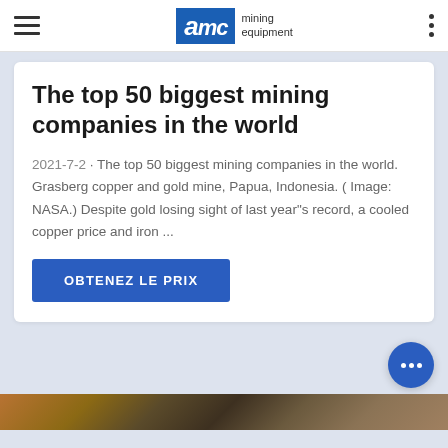AMC mining equipment
The top 50 biggest mining companies in the world
2021-7-2 · The top 50 biggest mining companies in the world. Grasberg copper and gold mine, Papua, Indonesia. ( Image: NASA.) Despite gold losing sight of last year"s record, a cooled copper price and iron ...
OBTENEZ LE PRIX
[Figure (photo): Bottom strip showing mining equipment photo]